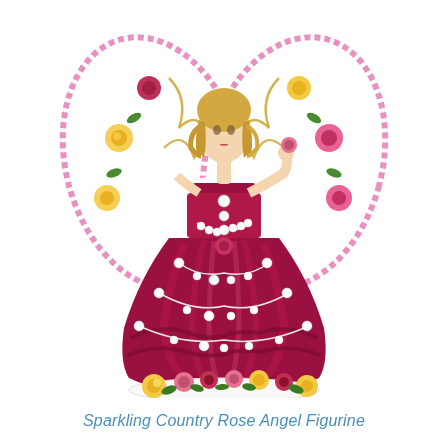[Figure (illustration): A decorative angel figurine wearing a deep crimson/magenta ballgown adorned with pearl garlands and jewels. The angel has large white wings decorated with pink and yellow roses, gold filigree scrollwork, and pink gemstone borders. She has blonde hair and holds a pink rose. The base of the figurine is decorated with colorful roses in pink, yellow, and red with green leaves.]
Sparkling Country Rose Angel Figurine